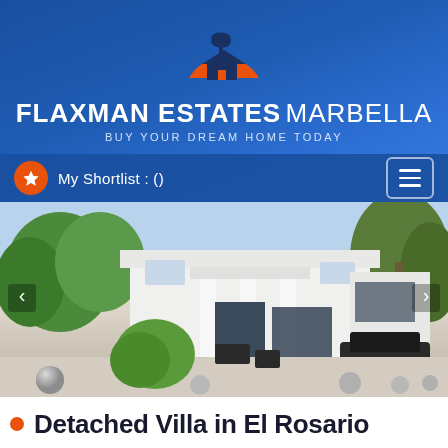[Figure (logo): Flaxman Estates Marbella logo: orange semicircle sun with palm tree and house silhouette, white text FLAXMAN ESTATES MARBELLA and tagline BUY YOUR DREAM HOME TODAY on blue gradient background]
My Shortlist : ()
[Figure (photo): Exterior photo of a modern white detached villa in El Rosario, Marbella, with covered terrace/portico, outdoor furniture, gravel driveway, green trees, and a dark SUV parked to the right]
Detached Villa in El Rosario